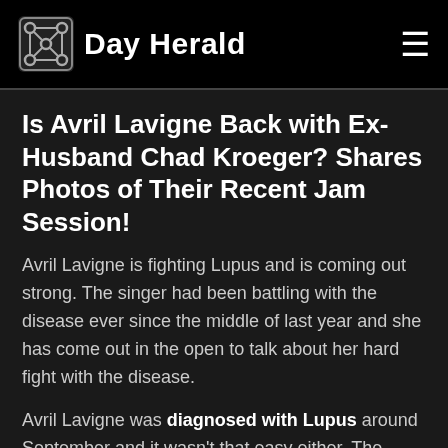Day Herald
Is Avril Lavigne Back with Ex-Husband Chad Kroeger? Shares Photos of Their Recent Jam Session!
Avril Lavigne is fighting Lupus and is coming out strong. The singer had been battling with the disease ever since the middle of last year and she has come out in the open to talk about her hard fight with the disease.
Avril Lavigne was diagnosed with Lupus around September and it wasn't that easy either. The singer was diagnosed to have depression before that and she was advised to focus on things that made her happy and she couldn't make anyone understand that it wasn't just her mind that was making things